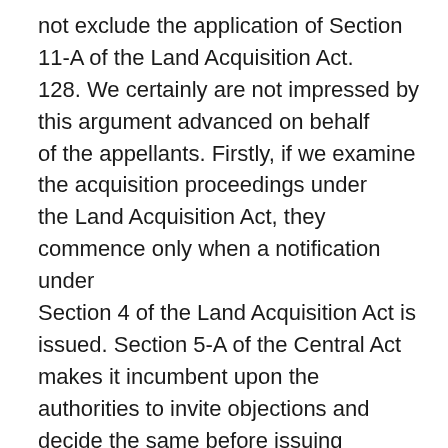not exclude the application of Section 11-A of the Land Acquisition Act. 128. We certainly are not impressed by this argument advanced on behalf of the appellants. Firstly, if we examine the acquisition proceedings under the Land Acquisition Act, they commence only when a notification under Section 4 of the Land Acquisition Act is issued. Section 5-A of the Central Act makes it incumbent upon the authorities to invite objections and decide the same before issuing declaration under Section 6 of the Land Acquisition Act. All these proceedings have specifically been given a goby under the MRTP Act, where notification is to be issued under Section